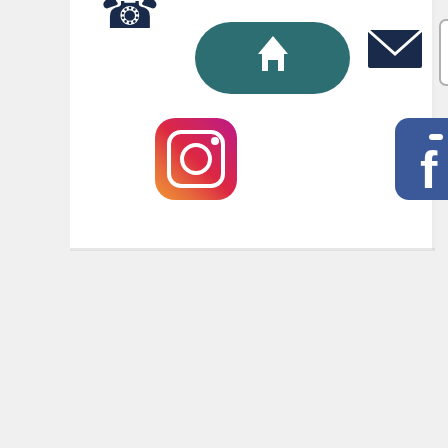[Figure (screenshot): A website navigation toolbar showing icons: phone icon, home icon (active, dark teal pill shape), email/envelope icon, hamburger menu icon, Instagram icon, and Facebook icon.]